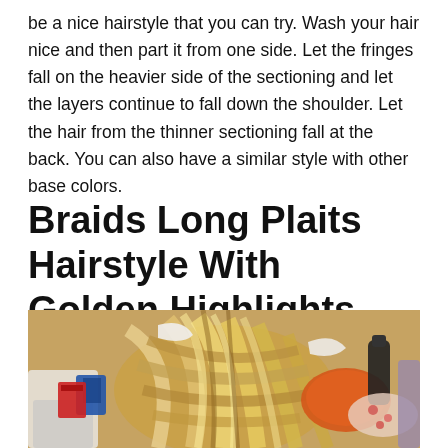be a nice hairstyle that you can try. Wash your hair nice and then part it from one side. Let the fringes fall on the heavier side of the sectioning and let the layers continue to fall down the shoulder. Let the hair from the thinner sectioning fall at the back. You can also have a similar style with other base colors.
Braids Long Plaits Hairstyle With Golden Highlights
[Figure (photo): Overhead view of a person with braided blonde hair with golden highlights, lying down on a sandy surface with various items like bags and a bottle visible around them.]